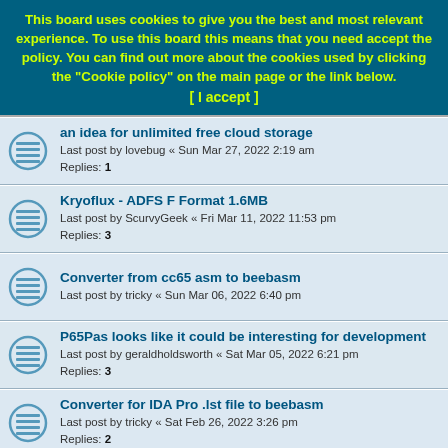This board uses cookies to give you the best and most relevant experience. To use this board this means that you need accept the policy. You can find out more about the cookies used by clicking the "Cookie policy" on the main page or the link below. [ I accept ]
an idea for unlimited free cloud storage
Last post by lovebug « Sun Mar 27, 2022 2:19 am
Replies: 1
Kryoflux - ADFS F Format 1.6MB
Last post by ScurvyGeek « Fri Mar 11, 2022 11:53 pm
Replies: 3
Converter from cc65 asm to beebasm
Last post by tricky « Sun Mar 06, 2022 6:40 pm
P65Pas looks like it could be interesting for development
Last post by geraldholdsworth « Sat Mar 05, 2022 6:21 pm
Replies: 3
Converter for IDA Pro .lst file to beebasm
Last post by tricky « Sat Feb 26, 2022 3:26 pm
Replies: 2
Loading cassettes straight through line-in
Last post by RokCoder « Wed Feb 23, 2022 9:08 am
Replies: 18
BBC Master 128 MMFS Card?
Last post by Coeus « Sun Jan 02, 2022 2:44 pm
Replies: 9